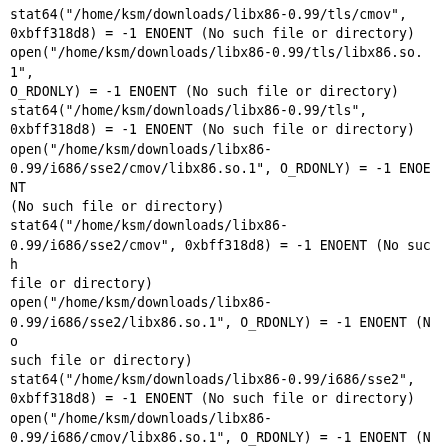stat64("/home/ksm/downloads/libx86-0.99/tls/cmov", 0xbff318d8) = -1 ENOENT (No such file or directory)
open("/home/ksm/downloads/libx86-0.99/tls/libx86.so.1", O_RDONLY) = -1 ENOENT (No such file or directory)
stat64("/home/ksm/downloads/libx86-0.99/tls", 0xbff318d8) = -1 ENOENT (No such file or directory)
open("/home/ksm/downloads/libx86-0.99/i686/sse2/cmov/libx86.so.1", O_RDONLY) = -1 ENOENT (No such file or directory)
stat64("/home/ksm/downloads/libx86-0.99/i686/sse2/cmov", 0xbff318d8) = -1 ENOENT (No such file or directory)
open("/home/ksm/downloads/libx86-0.99/i686/sse2/libx86.so.1", O_RDONLY) = -1 ENOENT (No such file or directory)
stat64("/home/ksm/downloads/libx86-0.99/i686/sse2", 0xbff318d8) = -1 ENOENT (No such file or directory)
open("/home/ksm/downloads/libx86-0.99/i686/cmov/libx86.so.1", O_RDONLY) = -1 ENOENT (No such file or directory)
stat64("/home/ksm/downloads/libx86-0.99/i686/cmov", 0xbff318d8) = -1 ENOENT (No such file or directory)
open("/home/ksm/downloads/libx86-0.99/i686/libx86.so.1", O_RDONLY) = -1 ENOENT (No such file or directory)
stat64("/home/ksm/downloads/libx86-0.99/i686", 0xbff318d8) = -1 ENOENT (No such file or directory)
open("/home/ksm/downloads/libx86-0.99/sse2/cmov/libx86.so.1", O_RDONLY) = -1 ENOENT (No such file or directory)